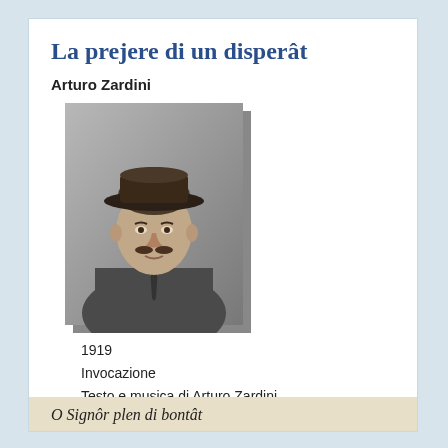La prejere di un disperât
Arturo Zardini
[Figure (photo): Black and white portrait photograph of Arturo Zardini, a man wearing a hat and suit with a tie, mustache, looking slightly upward to his right.]
1919
Invocazione
Testo e musica di Arturo Zardini
O Signôr plen di bontât